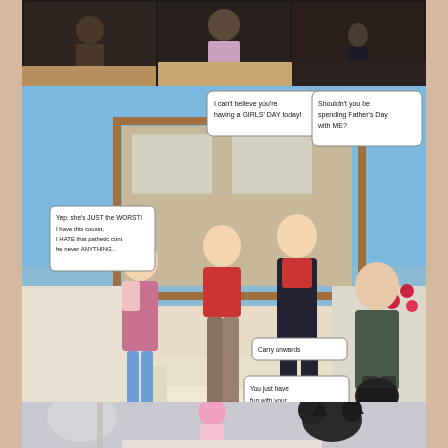[Figure (illustration): Comic/3D rendered illustration strip at top showing partial scene with figures]
[Figure (illustration): Main 3D rendered comic scene showing multiple characters indoors with speech bubbles about Father's Day and VR]
DARKLORD- FATHER'S DAY VR
group / incest
♥ 0
👁 1878
23/06/2020
[Figure (illustration): Bottom partial 3D rendered scene with pink-haired character and dark animal figure]